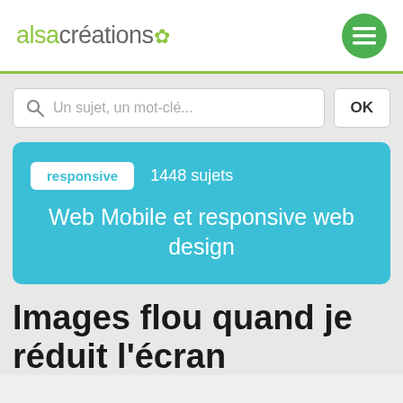alsacréations
Un sujet, un mot-clé...  OK
responsive  1448 sujets
Web Mobile et responsive web design
Images flou quand je réduit l'écran